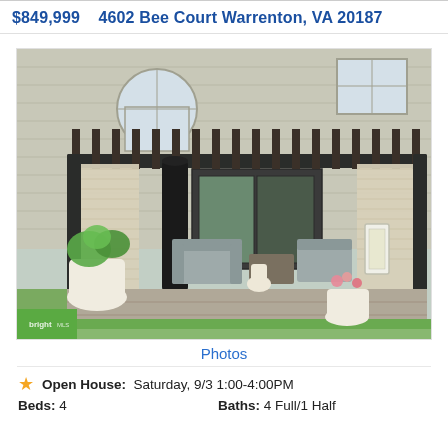$849,999   4602 Bee Court Warrenton, VA 20187
[Figure (photo): Outdoor covered patio/pergola with dark metal frame structure, roll-down shade curtains, wicker patio furniture with gray cushions, potted plants, decorative lanterns, attached to a beige/tan two-story house. Bright MLS watermark in lower left corner.]
Photos
Open House:  Saturday, 9/3 1:00-4:00PM
Beds: 4
Baths: 4 Full/1 Half